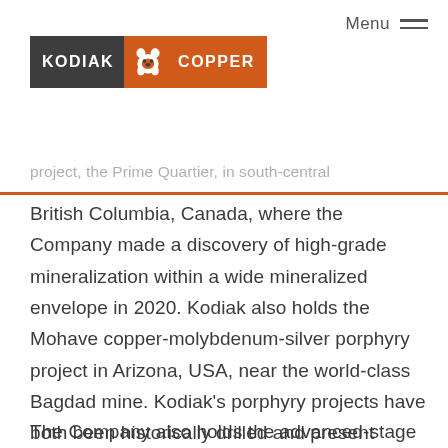[Figure (logo): Kodiak Copper company logo with bear icon, dark grey and orange background]
project, the Prime Quartier, in south-central British Columbia, Canada, where the Company made a discovery of high-grade mineralization within a wide mineralized envelope in 2020. Kodiak also holds the Mohave copper-molybdenum-silver porphyry project in Arizona, USA, near the world-class Bagdad mine. Kodiak's porphyry projects have both been historically drilled and present known mineral discoveries with the potential to hold large-scale deposits.
The Company also holds the advanced-stage Kahuna